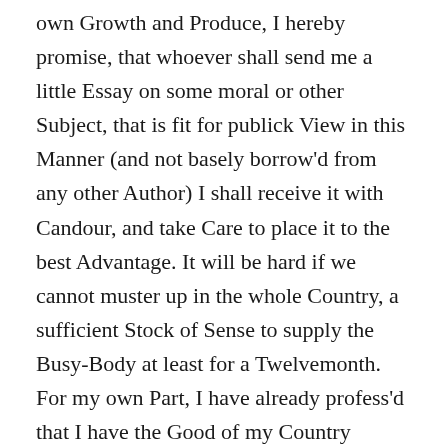own Growth and Produce, I hereby promise, that whoever shall send me a little Essay on some moral or other Subject, that is fit for publick View in this Manner (and not basely borrow'd from any other Author) I shall receive it with Candour, and take Care to place it to the best Advantage. It will be hard if we cannot muster up in the whole Country, a sufficient Stock of Sense to supply the Busy-Body at least for a Twelvemonth. For my own Part, I have already profess'd that I have the Good of my Country wholly at Heart in this Design, without the least sinister View; my chief Purpose being to inculcate the noble Principles of Virtue, and depreciate Vice of every kind. But as I know the Mob hate Instruction, and the Generality would never read beyond the first Line of my Lectures, if they were usually fill'd with nothing but wholesome Precepts and Advice; I must therefore sometimes humour them in their own Way. There are a Set of Great Names in